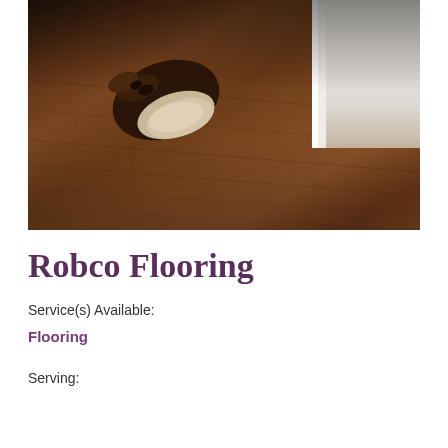[Figure (photo): A hand using a cloth or rag to apply finish or stain to a dark hardwood floor. The perspective is low-angle showing the wood grain texture. A white baseboard/wall is visible in the upper right corner.]
Robco Flooring
Service(s) Available:
Flooring
Serving: